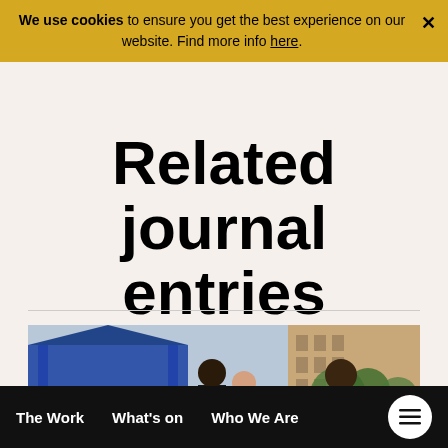We use cookies to ensure you get the best experience on our website. Find more info here.
Related journal entries
[Figure (photo): Outdoor community event with children and adults dancing or playing in front of a blue marquee tent, in what appears to be a city plaza or street setting.]
The Work   What's on   Who We Are